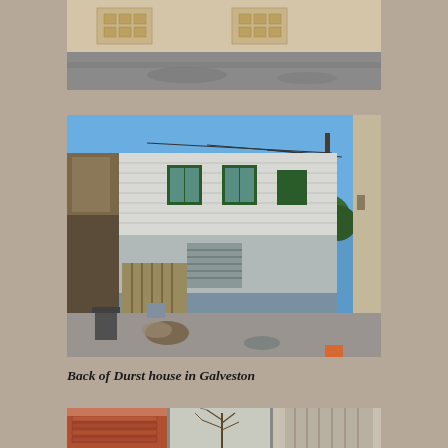[Figure (photo): Aerial or street-level view of a sidewalk/crosswalk area with brick pavement patterns, asphalt road surface visible at bottom. Black and white/sepia toned photograph.]
[Figure (photo): Back of Durst house in Galveston. Two-story white clapboard house with green shutters, utility pole, alley view, debris on ground, clear blue sky.]
Back of Durst house in Galveston
[Figure (photo): Bottom strip showing partial views of brick building, bare winter trees, and wooden structures - three panel photo strip.]